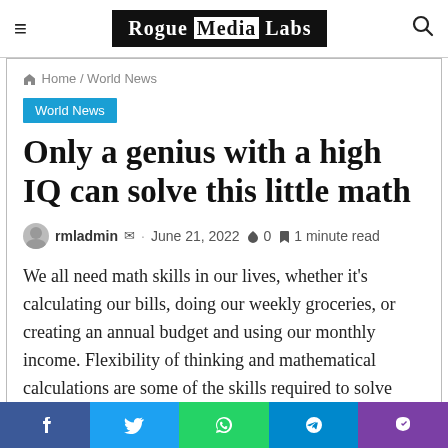Rogue Media Labs
Home / World News
World News
Only a genius with a high IQ can solve this little math
rmladmin · June 21, 2022 🔥 0 🔖 1 minute read
We all need math skills in our lives, whether it's calculating our bills, doing our weekly groceries, or creating an annual budget and using our monthly income. Flexibility of thinking and mathematical calculations are some of the skills required to solve